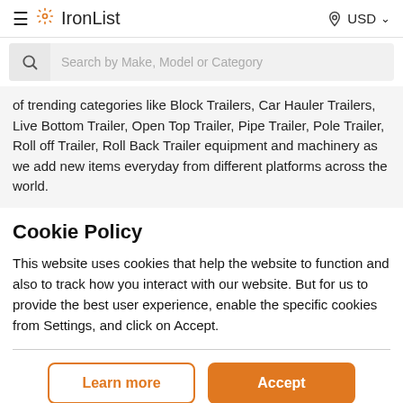IronList — USD
of trending categories like Block Trailers, Car Hauler Trailers, Live Bottom Trailer, Open Top Trailer, Pipe Trailer, Pole Trailer, Roll off Trailer, Roll Back Trailer equipment and machinery as we add new items everyday from different platforms across the world.
Cookie Policy
This website uses cookies that help the website to function and also to track how you interact with our website. But for us to provide the best user experience, enable the specific cookies from Settings, and click on Accept.